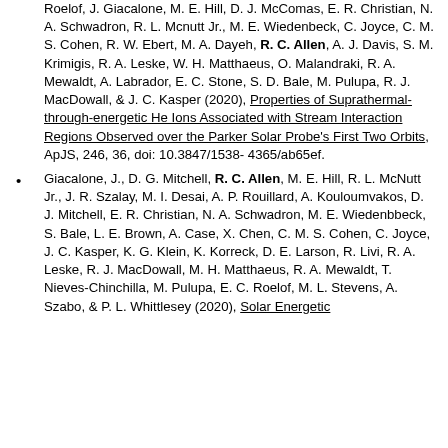Roelof, J. Giacalone, M. E. Hill, D. J. McComas, E. R. Christian, N. A. Schwadron, R. L. Mcnutt Jr., M. E. Wiedenbeck, C. Joyce, C. M. S. Cohen, R. W. Ebert, M. A. Dayeh, R. C. Allen, A. J. Davis, S. M. Krimigis, R. A. Leske, W. H. Matthaeus, O. Malandraki, R. A. Mewaldt, A. Labrador, E. C. Stone, S. D. Bale, M. Pulupa, R. J. MacDowall, & J. C. Kasper (2020), Properties of Suprathermal-through-energetic He Ions Associated with Stream Interaction Regions Observed over the Parker Solar Probe's First Two Orbits, ApJS, 246, 36, doi: 10.3847/1538-4365/ab65ef.
Giacalone, J., D. G. Mitchell, R. C. Allen, M. E. Hill, R. L. McNutt Jr., J. R. Szalay, M. I. Desai, A. P. Rouillard, A. Kouloumvakos, D. J. Mitchell, E. R. Christian, N. A. Schwadron, M. E. Wiedenbbeck, S. Bale, L. E. Brown, A. Case, X. Chen, C. M. S. Cohen, C. Joyce, J. C. Kasper, K. G. Klein, K. Korreck, D. E. Larson, R. Livi, R. A. Leske, R. J. MacDowall, M. H. Matthaeus, R. A. Mewaldt, T. Nieves-Chinchilla, M. Pulupa, E. C. Roelof, M. L. Stevens, A. Szabo, & P. L. Whittlesey (2020), Solar Energetic